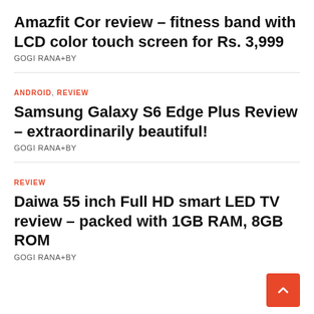Amazfit Cor review – fitness band with LCD color touch screen for Rs. 3,999
GOGI RANA+BY
ANDROID, REVIEW
Samsung Galaxy S6 Edge Plus Review – extraordinarily beautiful!
GOGI RANA+BY
REVIEW
Daiwa 55 inch Full HD smart LED TV review – packed with 1GB RAM, 8GB ROM
GOGI RANA+BY